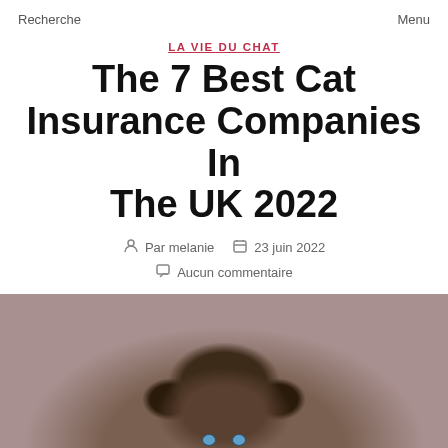Recherche    Menu
LA VIE DU CHAT
The 7 Best Cat Insurance Companies In The UK 2022
Par melanie   23 juin 2022
Aucun commentaire
[Figure (photo): Close-up photo of a fluffy Siamese or Himalayan cat with blue eyes, person blurred in background]